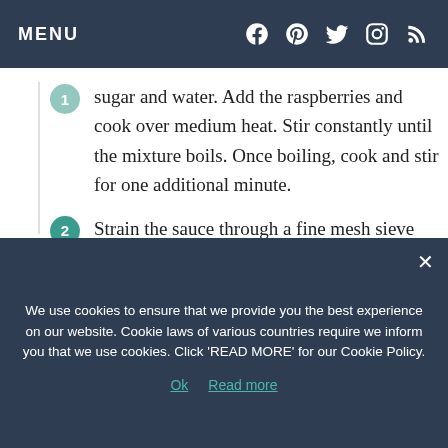MENU
sugar and water. Add the raspberries and cook over medium heat. Stir constantly until the mixture boils. Once boiling, cook and stir for one additional minute.
2. Strain the sauce through a fine mesh sieve placed over a bowl to remove seeds. The sauce can be served warm or cold. Store in the refrigerator for up to one week.
We use cookies to ensure that we provide you the best experience on our website. Cookie laws of various countries require we inform you that we use cookies. Click 'READ MORE' for our Cookie Policy.
Ok   Read more